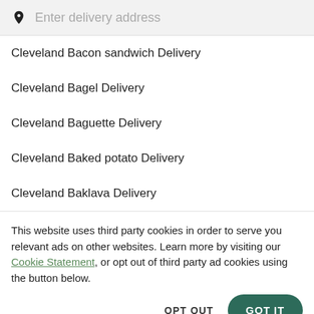Enter delivery address
Cleveland Bacon sandwich Delivery
Cleveland Bagel Delivery
Cleveland Baguette Delivery
Cleveland Baked potato Delivery
Cleveland Baklava Delivery
This website uses third party cookies in order to serve you relevant ads on other websites. Learn more by visiting our Cookie Statement, or opt out of third party ad cookies using the button below.
OPT OUT
GOT IT